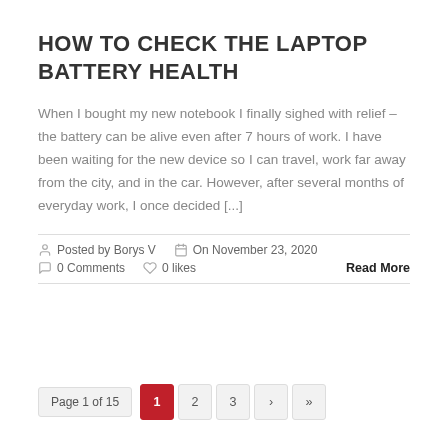HOW TO CHECK THE LAPTOP BATTERY HEALTH
When I bought my new notebook I finally sighed with relief – the battery can be alive even after 7 hours of work. I have been waiting for the new device so I can travel, work far away from the city, and in the car. However, after several months of everyday work, I once decided [...]
Posted by Borys V   On November 23, 2020   0 Comments   0 likes   Read More
Page 1 of 15   1   2   3   ›   »